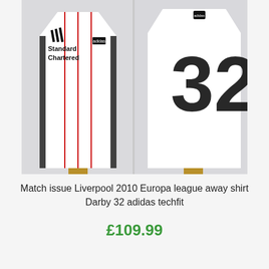[Figure (photo): Photo showing two views of a white Liverpool 2010 Europa League away football shirt. Left side shows the front with Standard Chartered sponsor logo, red pinstripes, and adidas logo. Right side shows the back with the number 32 in large black numerals. Shirts are displayed on mannequins.]
Match issue Liverpool 2010 Europa league away shirt Darby 32 adidas techfit
£109.99